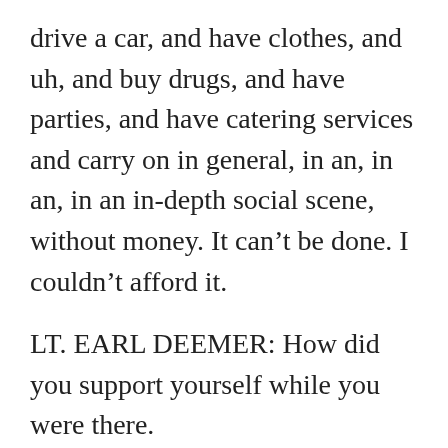drive a car, and have clothes, and uh, and buy drugs, and have parties, and have catering services and carry on in general, in an, in an, in an in-depth social scene, without money. It can't be done. I couldn't afford it.
LT. EARL DEEMER: How did you support yourself while you were there.
WILLIAM DOYLE: I had some money when I arrived there, and it was very